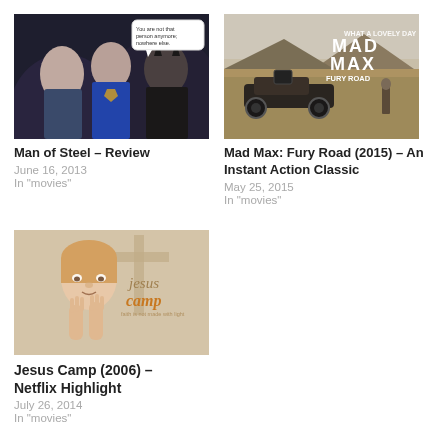[Figure (photo): Man of Steel movie scene – Superman with two figures, speech bubble visible]
Man of Steel – Review
June 16, 2013
In "movies"
[Figure (photo): Mad Max: Fury Road movie poster – desert scene with car and figure, title text overlay]
Mad Max: Fury Road (2015) – An Instant Action Classic
May 25, 2015
In "movies"
[Figure (photo): Jesus Camp documentary – young girl praying, jesus camp title text overlay]
Jesus Camp (2006) – Netflix Highlight
July 26, 2014
In "movies"